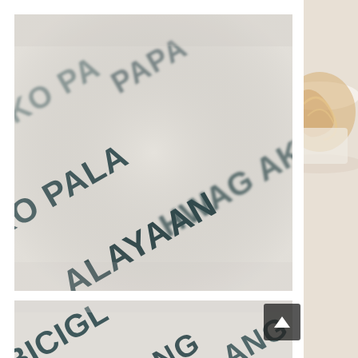[Figure (photo): Close-up photo of hand-lettered Filipino text on white paper, reading 'AKO PA', 'AKO PALA', 'ALAYAAN', 'HWAG AK' in dark teal/graphite bold brush lettering, diagonal composition, shallow depth of field.]
[Figure (photo): Close-up photo of hand-lettered Filipino text on white paper, reading 'BICIGL', 'NG', 'ANG' in dark teal/graphite bold brush lettering, diagonal composition, shallow depth of field. Partial view at bottom of page.]